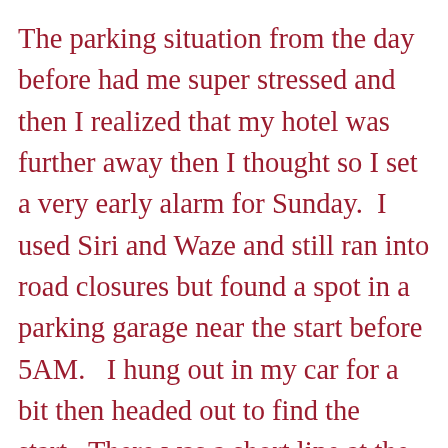The parking situation from the day before had me super stressed and then I realized that my hotel was further away then I thought so I set a very early alarm for Sunday.  I used Siri and Waze and still ran into road closures but found a spot in a parking garage near the start before 5AM.   I hung out in my car for a bit then headed out to find the start.  There was a short line at the potties so I took advantage, I then headed off to the #werunsocial meetup.